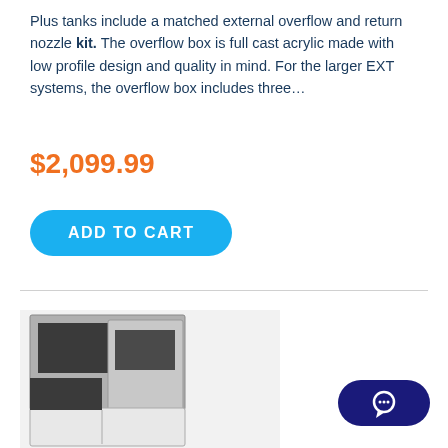Plus tanks include a matched external overflow and return nozzle kit. The overflow box is full cast acrylic made with low profile design and quality in mind. For the larger EXT systems, the overflow box includes three…
$2,099.99
ADD TO CART
[Figure (photo): Product photo of an aquarium tank system with dark gray and white cabinet components, shown from a top-front angle]
[Figure (other): Dark navy blue chat button with a speech bubble icon in the bottom right corner]